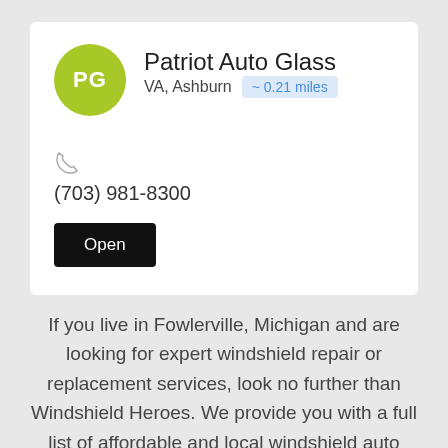Patriot Auto Glass
VA, Ashburn  ~ 0.21 miles
(703) 981-8300
Open
If you live in Fowlerville, Michigan and are looking for expert windshield repair or replacement services, look no further than Windshield Heroes. We provide you with a full list of affordable and local windshield auto glass repair and replacement companies that are